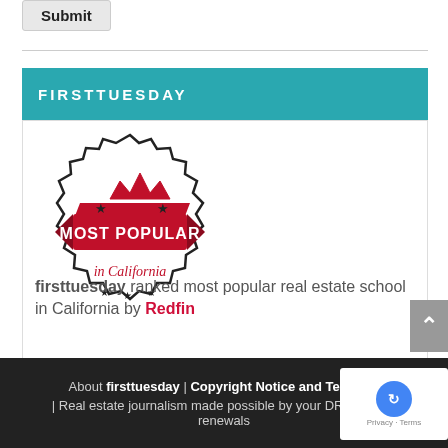Submit
FIRSTTUESDAY
[Figure (logo): Badge logo: 'Most Popular in California' with a crown, stars, and ribbon design in red and black]
firsttuesday ranked most popular real estate school in California by Redfin
About firsttuesday | Copyright Notice and Terms of ... | Real estate journalism made possible by your DRE license renewals